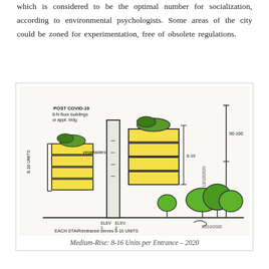which is considered to be the optimal number for socialization, according to environmental psychologists. Some areas of the city could be zoned for experimentation, free of obsolete regulations.
[Figure (illustration): Hand-drawn architectural sketch showing medium-rise residential buildings with 8-16 units per entrance, featuring balconies with vegetation/gardens, labeled with annotations including 'POST COVID-19 8-N floor buildings or appt. bldg', 'vegetables', '8-16 UNITS', '8-16 0-100', 'ELEV 1', 'ELEV 2', 'EACH STAIR/entrance serves 8-16 UNITS', dated 10/10/2020 and 10/10/2020]
Medium-Rise: 8-16 Units per Entrance – 2020